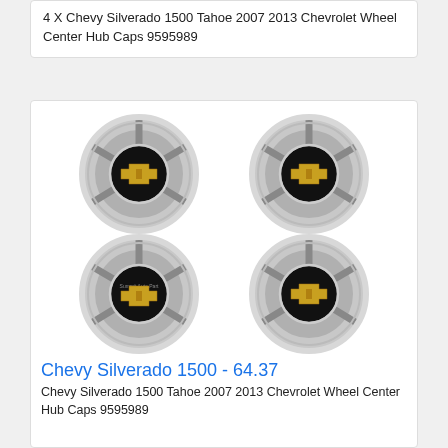4 X Chevy Silverado 1500 Tahoe 2007 2013 Chevrolet Wheel Center Hub Caps 9595989
[Figure (photo): Four Chevrolet wheel center hub caps arranged in a 2x2 grid. Each cap is silver/chrome with a black center circle featuring a gold Chevrolet bowtie logo. Text 'Summit Auto Part' visible on two of the caps.]
Chevy Silverado 1500 - 64.37
Chevy Silverado 1500 Tahoe 2007 2013 Chevrolet Wheel Center Hub Caps 9595989